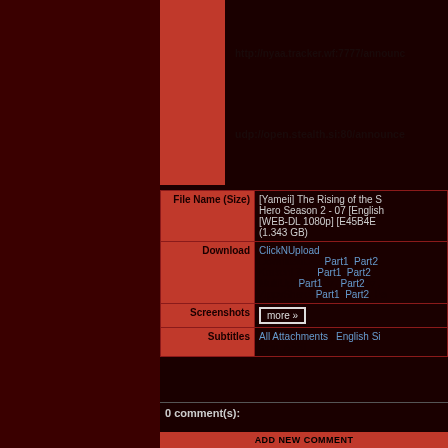http://nyaa.tracker.wf:7777/announce
udp://open.stealth.si:80/announce
| Label | Value |
| --- | --- |
| File Name (Size) | [Yameii] The Rising of the Shield Hero Season 2 - 07 [English] [WEB-DL 1080p] [E45B4E...] (1.343 GB) |
| Download | ClickNUpload
DownloadGG: Part1, Part2
KrakenFiles: Part1, Part2
MultiUp: Part1 ▼, Part2 ▼, ...
ZippyShare: Part1, Part2, Pa... |
| Screenshots | more » |
| Subtitles | All Attachments | English Si... [eng, ASS] |
0 comment(s):
Add new comment